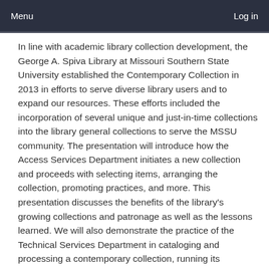Menu  Log in
In line with academic library collection development, the George A. Spiva Library at Missouri Southern State University established the Contemporary Collection in 2013 in efforts to serve diverse library users and to expand our resources. These efforts included the incorporation of several unique and just-in-time collections into the library general collections to serve the MSSU community. The presentation will introduce how the Access Services Department initiates a new collection and proceeds with selecting items, arranging the collection, promoting practices, and more. This presentation discusses the benefits of the library's growing collections and patronage as well as the lessons learned. We will also demonstrate the practice of the Technical Services Department in cataloging and processing a contemporary collection, running its maintenance, and the eventual dismantlement of the collection.